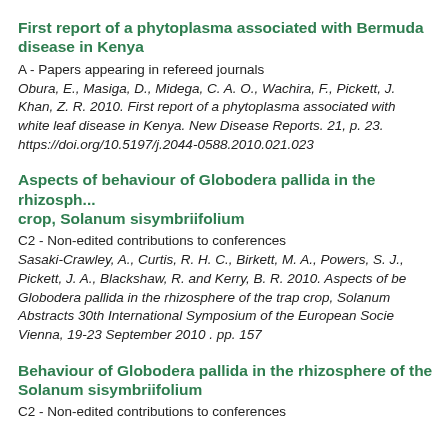First report of a phytoplasma associated with Bermuda disease in Kenya
A - Papers appearing in refereed journals
Obura, E., Masiga, D., Midega, C. A. O., Wachira, F., Pickett, J. A., Khan, Z. R. 2010. First report of a phytoplasma associated with white leaf disease in Kenya. New Disease Reports. 21, p. 23. https://doi.org/10.5197/j.2044-0588.2010.021.023
Aspects of behaviour of Globodera pallida in the rhizosphere of the trap crop, Solanum sisymbriifolium
C2 - Non-edited contributions to conferences
Sasaki-Crawley, A., Curtis, R. H. C., Birkett, M. A., Powers, S. J., Pickett, J. A., Blackshaw, R. and Kerry, B. R. 2010. Aspects of behaviour of Globodera pallida in the rhizosphere of the trap crop, Solanum sisymbriifolium. Abstracts 30th International Symposium of the European Society of Nematologists, Vienna, 19-23 September 2010 . pp. 157
Behaviour of Globodera pallida in the rhizosphere of the trap crop, Solanum sisymbriifolium
C2 - Non-edited contributions to conferences